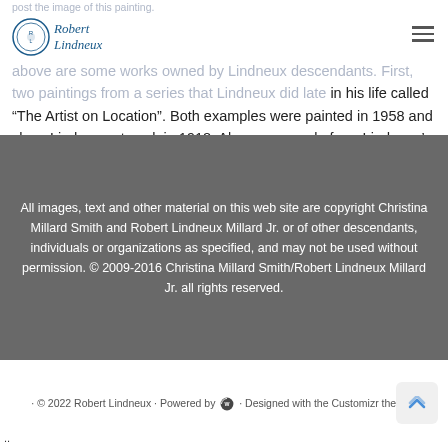post the image of this painting.
[Figure (logo): Robert Lindneux logo with circular emblem and italic blue text]
above are some works owned by Lindneux descendants. First, two paintings from a series that Lindneux did late in his life called “The Artist on Location”. Both examples were painted in 1958 and show Lindneux at work in 1918. Also an example from Lindneux’s well known “North American Mammal” series painted for Lindneux’s good friend Ben Bond.
All images, text and other material on this web site are copyright Christina Millard Smith and Robert Lindneux Millard Jr. or of other descendants, individuals or organizations as specified, and may not be used without permission. © 2009-2016 Christina Millard Smith/Robert Lindneux Millard Jr. all rights reserved.
· © 2022 Robert Lindneux · Powered by · Designed with the Customizr theme ·